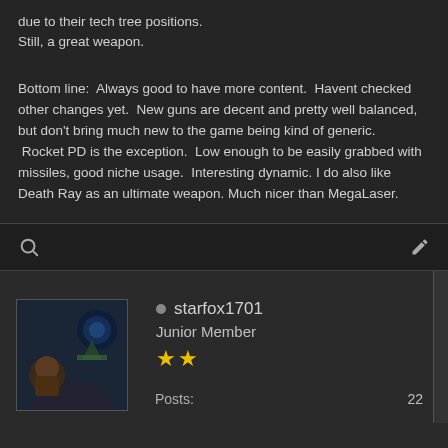due to their tech tree positions.
Still, a great weapon.
Bottom line:  Always good to have more content.  Havent checked other changes yet.  New guns are decent and pretty well balanced, but don't bring much new to the game being kind of generic.
 Rocket PD is the exception.  Low enough to be easily grabbed with missiles, good niche usage.  Interesting dynamic. I do also like Death Ray as an ultimate weapon. Much nicer than MegaLaser.
starfox1701
Junior Member
Posts: 22